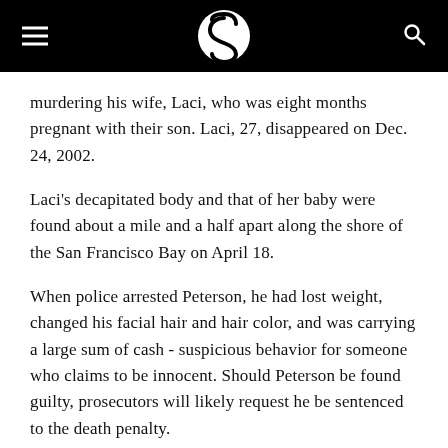[Salon logo header with hamburger menu and search icon]
murdering his wife, Laci, who was eight months pregnant with their son. Laci, 27, disappeared on Dec. 24, 2002.
Laci's decapitated body and that of her baby were found about a mile and a half apart along the shore of the San Francisco Bay on April 18.
When police arrested Peterson, he had lost weight, changed his facial hair and hair color, and was carrying a large sum of cash - suspicious behavior for someone who claims to be innocent. Should Peterson be found guilty, prosecutors will likely request he be sentenced to the death penalty.
In a less publicized case, an Oregon man was sentenced to death on April 17, for murdering his wife and three children, all of whom were under the age of 5. Christian Longo, 29, pleaded